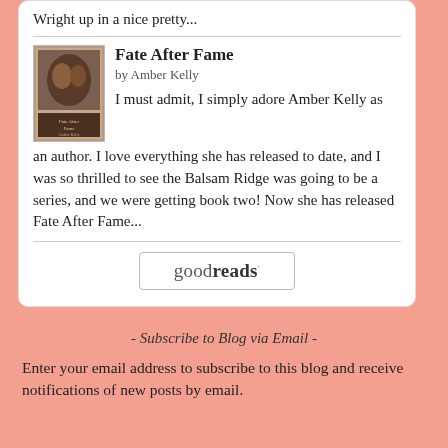Wright up in a nice pretty...
Fate After Fame
by Amber Kelly
I must admit, I simply adore Amber Kelly as an author. I love everything she has released to date, and I was so thrilled to see the Balsam Ridge was going to be a series, and we were getting book two! Now she has released Fate After Fame...
[Figure (logo): Goodreads logo button]
- Subscribe to Blog via Email -
Enter your email address to subscribe to this blog and receive notifications of new posts by email.